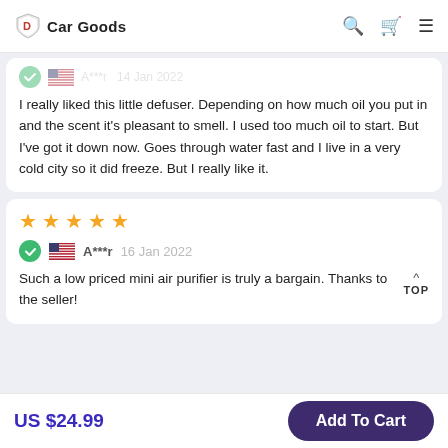Car Goods
I really liked this little defuser. Depending on how much oil you put in and the scent it's pleasant to smell. I used too much oil to start. But I've got it down now. Goes through water fast and I live in a very cold city so it did freeze. But I really like it.
★★★★★  A***r  16 Jan 2022  Such a low priced mini air purifier is truly a bargain. Thanks to the seller!
US $24.99
Add To Cart